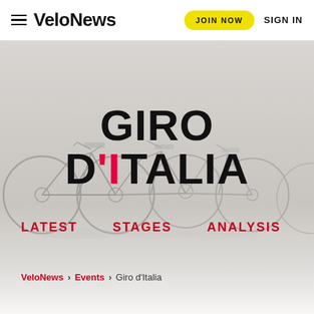VeloNews | JOIN NOW | SIGN IN
[Figure (photo): Grayscale/faded background photo of bicycles leaning against each other, overlaid with Giro d'Italia heading and navigation]
GIRO D'ITALIA
LATEST   STAGES   ANALYSIS   TECH   TI
VeloNews > Events > Giro d'Italia